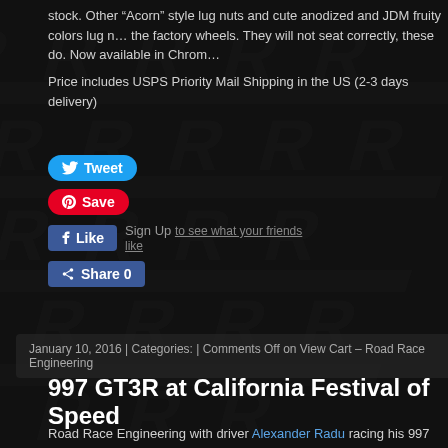stock. Other “Acorn” style lug nuts and cute anodized and JDM fruity colors lug nuts will not fit the factory wheels. They will not seat correctly, these do. Now available in Chrom…
Price includes USPS Priority Mail Shipping in the US (2-3 days delivery)
[Figure (screenshot): Social media sharing buttons: Tweet (blue), Save (red Pinterest), Like (Facebook blue), Share 0 (Facebook blue), with Sign Up link]
January 10, 2016 | Categories: | Comments Off on View Cart – Road Race Engineering
997 GT3R at California Festival of Speed
Road Race Engineering with driver Alexander Radu racing his 997 Porsche GT3R America, San Diego Region California Festival of Speed at Auto Club Speedway. support and expertise was Bob Faieta and Caden Loftus from Competition Moto…